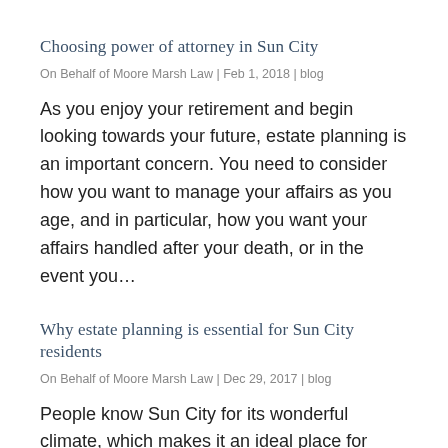Choosing power of attorney in Sun City
On Behalf of Moore Marsh Law | Feb 1, 2018 | blog
As you enjoy your retirement and begin looking towards your future, estate planning is an important concern. You need to consider how you want to manage your affairs as you age, and in particular, how you want your affairs handled after your death, or in the event you…
Why estate planning is essential for Sun City residents
On Behalf of Moore Marsh Law | Dec 29, 2017 | blog
People know Sun City for its wonderful climate, which makes it an ideal place for retirement. Although retirement can be a time filled with